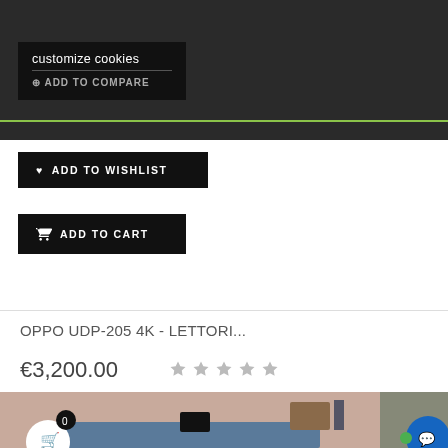customize cookies
ADD TO COMPARE
ADD TO WISHLIST
ADD TO CART
OPPO UDP-205 4K - LETTORI...
€3,200.00
[Figure (photo): Product photo showing an OPPO UDP-205 4K Blu-ray player on a shelf with a remote control]